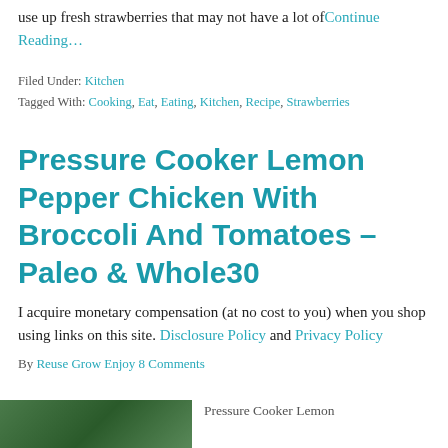use up fresh strawberries that may not have a lot of Continue Reading…
Filed Under: Kitchen
Tagged With: Cooking, Eat, Eating, Kitchen, Recipe, Strawberries
Pressure Cooker Lemon Pepper Chicken With Broccoli And Tomatoes – Paleo & Whole30
I acquire monetary compensation (at no cost to you) when you shop using links on this site. Disclosure Policy and Privacy Policy
By Reuse Grow Enjoy 8 Comments
[Figure (photo): Photo thumbnail of Pressure Cooker Lemon Pepper Chicken dish, green background]
Pressure Cooker Lemon